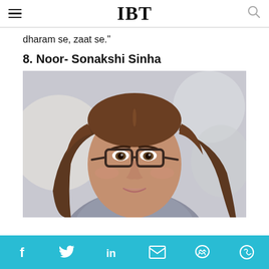IBT
dharam se, zaat se."
8. Noor- Sonakshi Sinha
[Figure (photo): Close-up photo of a young woman with long wavy brown hair wearing dark-framed glasses, looking slightly to the side with a subtle smile, blurred office background]
Social share bar with Facebook, Twitter, LinkedIn, Email, Messenger, WhatsApp icons